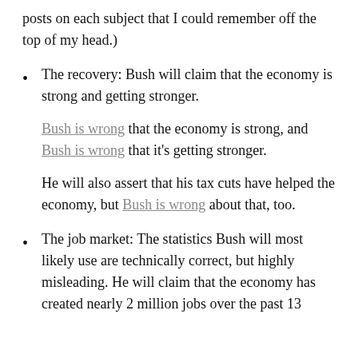posts on each subject that I could remember off the top of my head.)
The recovery: Bush will claim that the economy is strong and getting stronger.
Bush is wrong that the economy is strong, and Bush is wrong that it's getting stronger.
He will also assert that his tax cuts have helped the economy, but Bush is wrong about that, too.
The job market: The statistics Bush will most likely use are technically correct, but highly misleading. He will claim that the economy has created nearly 2 million jobs over the past 13